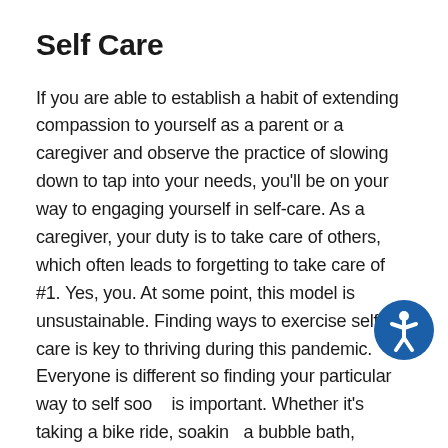Self Care
If you are able to establish a habit of extending compassion to yourself as a parent or a caregiver and observe the practice of slowing down to tap into your needs, you'll be on your way to engaging yourself in self-care. As a caregiver, your duty is to take care of others, which often leads to forgetting to take care of #1. Yes, you. At some point, this model is unsustainable. Finding ways to exercise self care is key to thriving during this pandemic. Everyone is different so finding your particular way to self soo… is important. Whether it's taking a bike ride, soakin… a bubble bath, getting your nails done, having dinner with a friend, taking a walk on the beach, sleeping in, reading a book, the possibilities are endless. But you have to choose to make yourself a priority when it's so
[Figure (illustration): Blue circular accessibility icon with a stylized person figure, positioned in the lower right area overlapping the text]